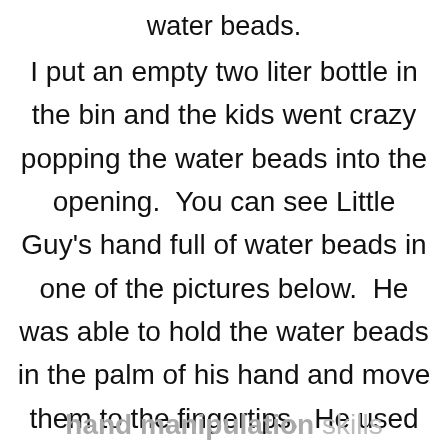water beads.
I put an empty two liter bottle in the bin and the kids went crazy popping the water beads into the opening. You can see Little Guy's hand full of water beads in one of the pictures below. He was able to hold the water beads in the palm of his hand and move them to the fingertips. He used palm-to-finger in-
hand manipulation skills